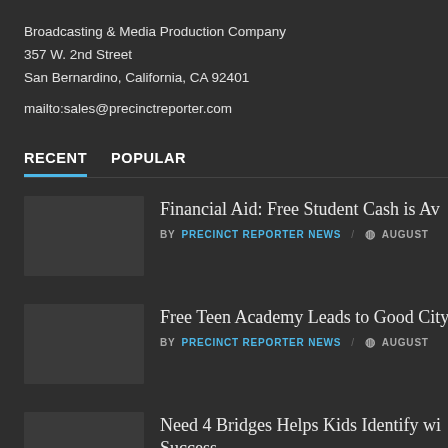Broadcasting & Media Production Company
357 W. 2nd Street
San Bernardino, California, CA 92401

mailto:sales@precinctreporter.com
RECENT   POPULAR
Financial Aid: Free Student Cash is Av...
BY PRECINCT REPORTER NEWS / AUGUST
Free Teen Academy Leads to Good City...
BY PRECINCT REPORTER NEWS / AUGUST
Need 4 Bridges Helps Kids Identify wi... Success
BY PRECINCT REPORTER NEWS / AUGUST
YOU M...
[Figure (photo): Two people in dark shirts outdoors]
[Figure (photo): Parade scene with people in colorful costumes]
[Figure (photo): Portrait of a smiling woman]